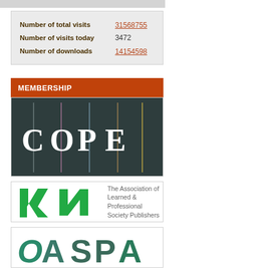| Metric | Value |
| --- | --- |
| Number of total visits | 31568755 |
| Number of visits today | 3472 |
| Number of downloads | 14154598 |
MEMBERSHIP
[Figure (logo): COPE (Committee on Publication Ethics) logo — white C O P E letters separated by vertical colored lines on dark background]
[Figure (logo): The Association of Learned & Professional Society Publishers logo with green angular bird/arrow mark]
[Figure (logo): OASPA logo in teal/green stylized letters]